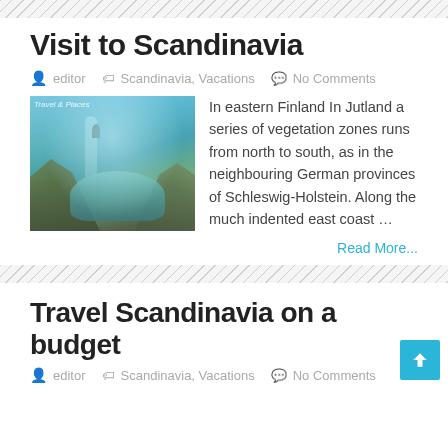Visit to Scandinavia
editor  Scandinavia, Vacations  No Comments
[Figure (photo): Scenic fjord landscape with cliffs, turquoise water, and a person standing on a rock ledge]
In eastern Finland In Jutland a series of vegetation zones runs from north to south, as in the neighbouring German provinces of Schleswig-Holstein. Along the much indented east coast …
Read More...
Travel Scandinavia on a budget
editor  Scandinavia, Vacations  No Comments